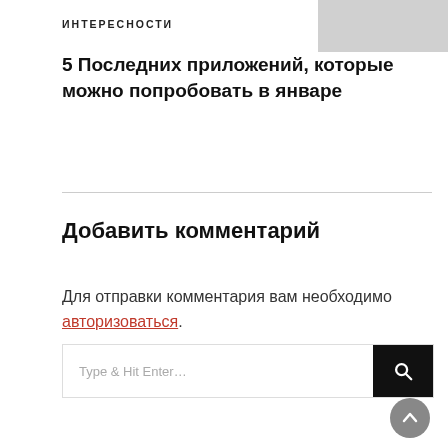[Figure (other): Gray rectangle image placeholder in top right corner]
ИНТЕРЕСНОСТИ
5 Последних приложений, которые можно попробовать в январе
Добавить комментарий
Для отправки комментария вам необходимо авторизоваться.
[Figure (other): Search bar with text 'Type & Hit Enter…' and black search button with magnifying glass icon]
[Figure (other): Scroll to top button — gray circle with upward arrow]